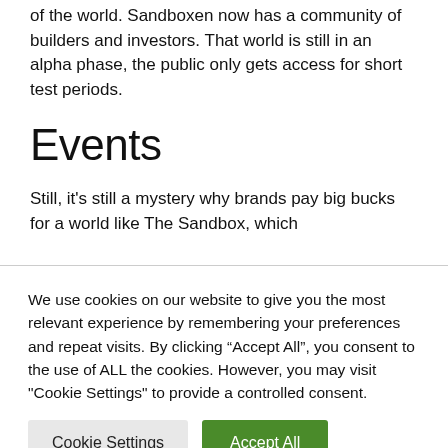of the world. Sandboxen now has a community of builders and investors. That world is still in an alpha phase, the public only gets access for short test periods.
Events
Still, it's still a mystery why brands pay big bucks for a world like The Sandbox, which
We use cookies on our website to give you the most relevant experience by remembering your preferences and repeat visits. By clicking “Accept All”, you consent to the use of ALL the cookies. However, you may visit "Cookie Settings" to provide a controlled consent.